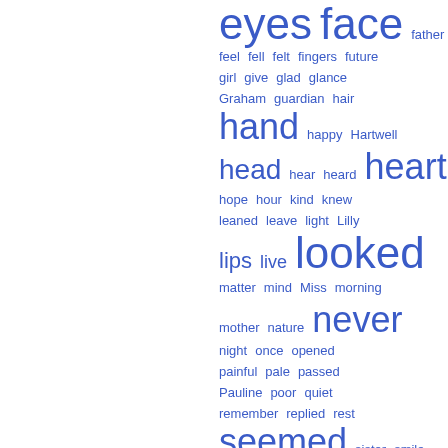[Figure (other): Word cloud showing various English words in different sizes, all in blue, displayed on the right half of the page. Larger words appear more frequently. Words include: eyes, face, father, feel, fell, felt, fingers, future, girl, give, glad, glance, Graham, guardian, hair, hand, happy, Hartwell, head, hear, heard, heart, hope, hour, kind, knew, leaned, leave, light, Lilly, lips, live, looked, matter, mind, Miss, morning, mother, nature, never, night, once, opened, painful, pale, passed, Pauline, poor, quiet, remember, replied, rest, seemed, sister, smile, soon, soul, spoke, steps, stood, suffer, suppose, talk]